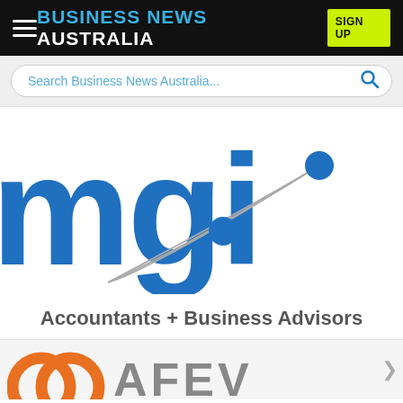BUSINESS NEWS AUSTRALIA
[Figure (screenshot): Search bar with placeholder text 'Search Business News Australia...' and a blue search icon]
[Figure (logo): MGI logo - partial large blue letters 'mgi' with grey arc lines and blue circular dots, Accountants + Business Advisors branding]
Accountants + Business Advisors
[Figure (logo): Partial bottom logo showing an orange interlocking circles symbol and partial text starting with 'A E V' in grey/brown letters]